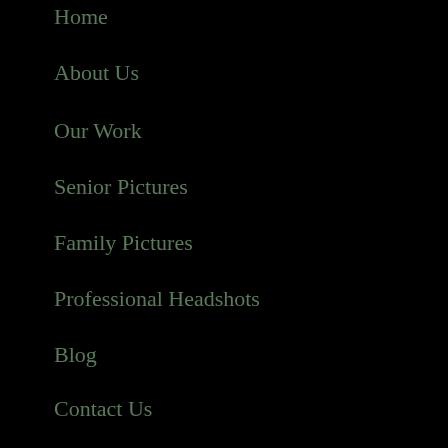Home
About Us
Our Work
Senior Pictures
Family Pictures
Professional Headshots
Blog
Contact Us
CONTACT INFORMATION
Photography across Butler County, Ohio and surrounding area.
(513) 939-7113